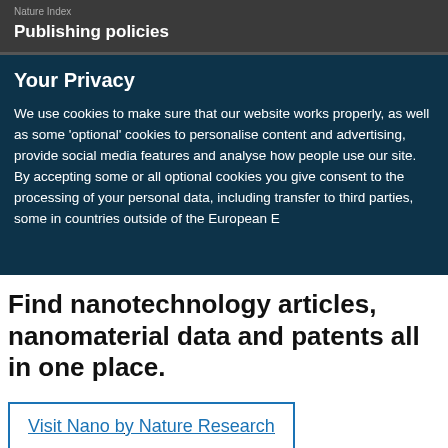Nature Index
Publishing policies
Your Privacy
We use cookies to make sure that our website works properly, as well as some 'optional' cookies to personalise content and advertising, provide social media features and analyse how people use our site. By accepting some or all optional cookies you give consent to the processing of your personal data, including transfer to third parties, some in countries outside of the European Economic Area, that do not offer the same data protection standards
Find nanotechnology articles, nanomaterial data and patents all in one place.
Visit Nano by Nature Research
✕ Close